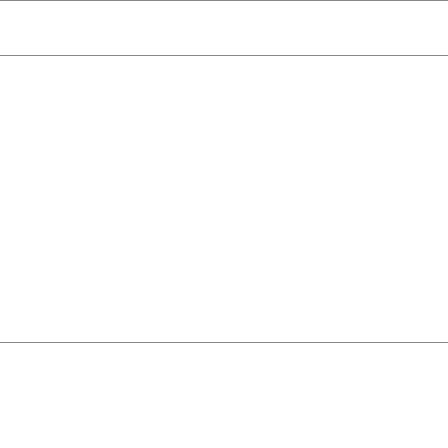|  |  |
| --- | --- |
|  |  |
| Linux 64-bit | chimera-1.4-l...
Size: 77878765
MD5: 436450aa45c20... |
| Linux 64-bit | chimera-1.3-l...
Size: 91456994
MD5: d1eedcda4b770... |